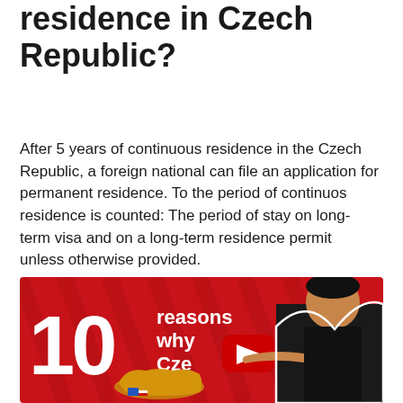residence in Czech Republic?
After 5 years of continuous residence in the Czech Republic, a foreign national can file an application for permanent residence. To the period of continuos residence is counted: The period of stay on long-term visa and on a long-term residence permit unless otherwise provided.
[Figure (other): Red YouTube video thumbnail showing '10 reasons why Cze...!' text with a play button, a map of Czech Republic in orange/gold, and a person pointing to the right.]